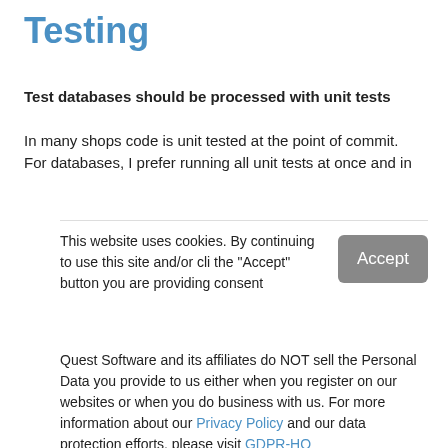Testing
Test databases should be processed with unit tests
In many shops code is unit tested at the point of commit. For databases, I prefer running all unit tests at once and in
This website uses cookies. By continuing to use this site and/or cli the "Accept" button you are providing consent
Quest Software and its affiliates do NOT sell the Personal Data you provide to us either when you register on our websites or when you do business with us. For more information about our Privacy Policy and our data protection efforts, please visit GDPR-HQ